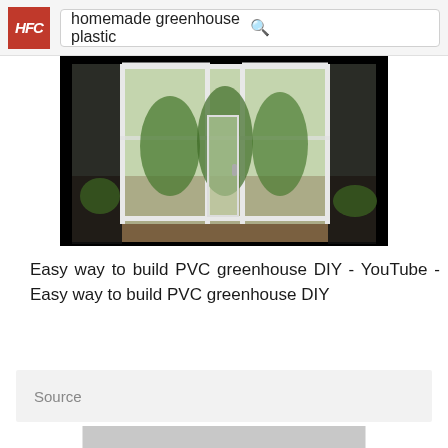homemade greenhouse plastic
[Figure (photo): A homemade PVC greenhouse covered with clear plastic sheeting, viewed from outside. The structure has a white PVC frame with transparent panels showing plants growing inside. Dark soil and some outdoor plants are visible around the base.]
Easy way to build PVC greenhouse DIY - YouTube - Easy way to build PVC greenhouse DIY
Source
[Figure (photo): A partially visible gray/silver image placeholder at the bottom of the page.]